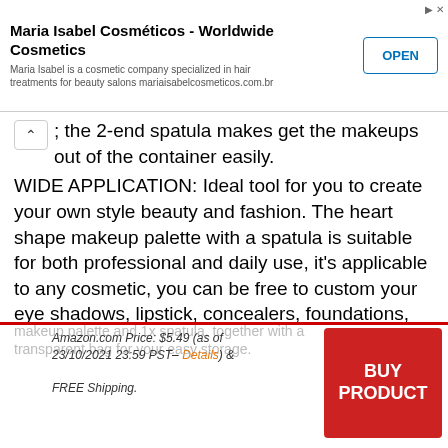[Figure (screenshot): Ad banner for Maria Isabel Cosméticos - Worldwide Cosmetics with OPEN button]
; the 2-end spatula makes get the makeups out of the container easily.
WIDE APPLICATION: Ideal tool for you to create your own style beauty and fashion. The heart shape makeup palette with a spatula is suitable for both professional and daily use, it's applicable to any cosmetic, you can be free to custom your eye shadows, lipstick, concealers, foundations, pigment etc. to the color and texture you want. BUY IT NOW: The package will come with 1x
makeup palette and 1x spatula, together with a transparent bag for your easy storage.
Amazon.com Price: $5.49 (as of 23/10/2021 23:59 PST– Details) & FREE Shipping.
BUY PRODUCT